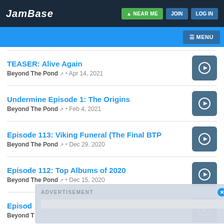JamBase | NEAR ME | JOIN | LOG IN
MENU
TEASER: Alive Again
Beyond The Pond • Apr 14, 2021
Undermine Episode 1: The Origins
Beyond The Pond • Feb 4, 2021
Episode 113: Viking Funeral (The Final BTP
Beyond The Pond • Dec 29, 2020
Episode 112: Top Albums of 2020
Beyond The Pond • Dec 15, 2020
ADVERTISEMENT
Episod
Beyond T